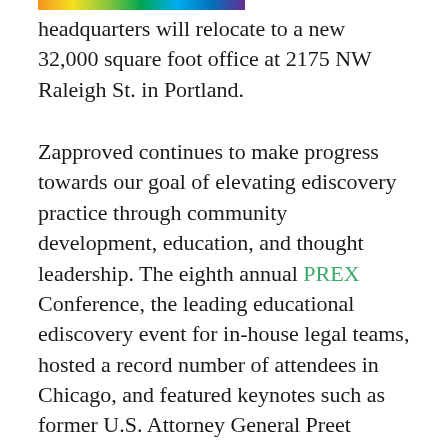headquarters will relocate to a new 32,000 square foot office at 2175 NW Raleigh St. in Portland.
Zapproved continues to make progress towards our goal of elevating ediscovery practice through community development, education, and thought leadership. The eighth annual PREX Conference, the leading educational ediscovery event for in-house legal teams, hosted a record number of attendees in Chicago, and featured keynotes such as former U.S. Attorney General Preet Bharara; the Hon. Paul Grewal, Facebook's Vice President and Deputy General Counsel for Litigation; and the Hon. Bernice Donald. Our annual Corporate Ediscovery Hero Awards series celebrated the influencers and achievers of in-house ediscovery, hosting famed historian Doris Kearns Goodwin and